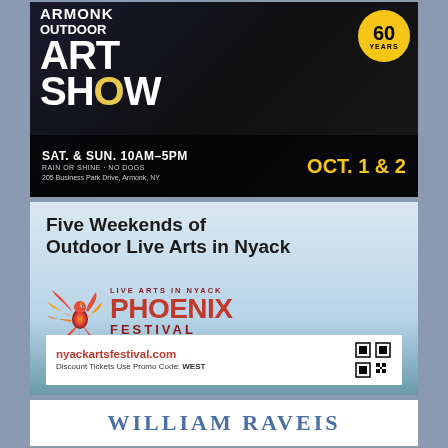[Figure (advertisement): Armonk Outdoor Art Show advertisement. Dark background with colorful artwork. Text: Armonk Outdoor Art Show, 60 Years badge, SAT. & SUN. 10AM-5PM, RAIN OR SHINE · NO DOGS, 205 Business Park Drive, Armonk, NY, OCT. 1 & 2]
[Figure (advertisement): Phoenix Festival advertisement. Light blue sky background. Text: Five Weekends of Outdoor Live Arts in Nyack. Phoenix bird logo in orange/red. LIVE ARTS IN NYACK PHOENIX FESTIVAL. nyackartsfestival.com, Discount Tickets Use Promo Code: WEST. QR code shown.]
[Figure (logo): William Raveis logo in blue serif text on white background]